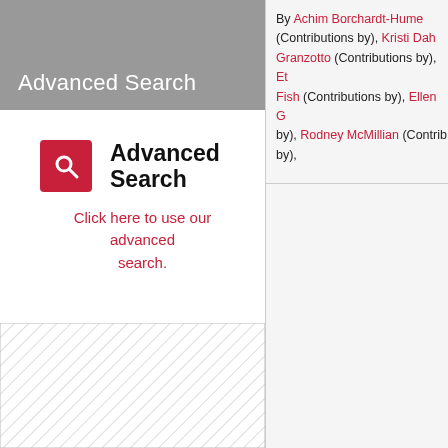Advanced Search
[Figure (logo): Red square icon with white magnifying glass]
Advanced Search
Click here to use our advanced search.
[Figure (other): Hatched/striped rectangular box]
By Achim Borchardt-Hume (Contributions by), Kristi Dah Granzotto (Contributions by), Et Fish (Contributions by), Ellen G by), Rodney McMillian (Contrib by),
Sherlock Ho